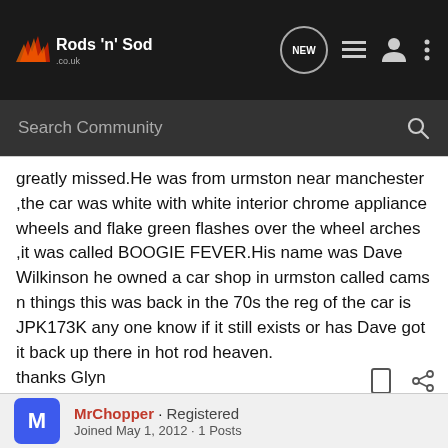Rods 'n' Sods - NEW [icon] [icon] [icon]
Search Community
greatly missed.He was from urmston near manchester ,the car was white with white interior chrome appliance wheels and flake green flashes over the wheel arches ,it was called BOOGIE FEVER.His name was Dave Wilkinson he owned a car shop in urmston called cams n things this was back in the 70s the reg of the car is JPK173K any one know if it still exists or has Dave got it back up there in hot rod heaven.
thanks Glyn
MrChopper · Registered
Joined May 1, 2012 · 1 Posts